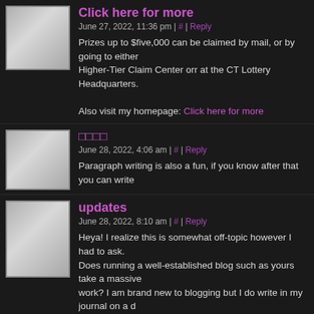Click here for more
June 27, 2022, 11:36 pm | # | Reply
Prizes up to $five,000 can be claimed by mail, or by going to either Higher-Tier Claim Center orr at the CT Lottery Headquarters.
Also visit my homepage: Click here for more
□□□□
June 28, 2022, 4:06 am | # | Reply
Paragraph writing is also a fun, if you know after that you can write
updates
June 28, 2022, 8:10 am | # | Reply
Heya! I realize this is somewhat off-topic however I had to ask. Does running a well-established blog such as yours take a massive work? I am brand new to blogging but I do write in my journal on a daily basis. I'd like to start a blog so I will be able to share my own experience and views. Please let me know if you have any kind of ideas or tips for brand new aspiring bloggers. Appreciate it!
Situs Judi slot Online
June 28, 2022, 8:46 am | # | Reply
Quality articles or reviews is the key to attract the users to go to see